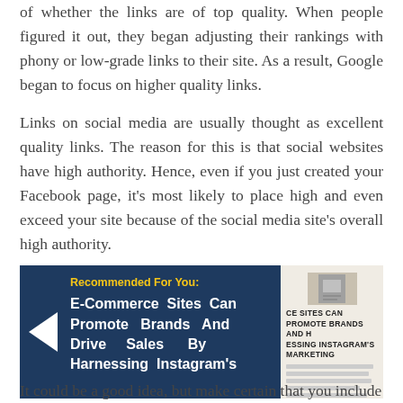of whether the links are of top quality. When people figured it out, they began adjusting their rankings with phony or low-grade links to their site. As a result, Google began to focus on higher quality links.
Links on social media are usually thought as excellent quality links. The reason for this is that social websites have high authority. Hence, even if you just created your Facebook page, it's most likely to place high and even exceed your site because of the social media site's overall high authority.
[Figure (infographic): A 'Recommended For You' banner with a dark navy background, gold 'Recommended For You:' label, white arrow pointing left, and white bold text reading 'E-Commerce Sites Can Promote Brands And Drive Sales By Harnessing Instagram's'. To the right is a thumbnail image showing a document preview with the same article title.]
It could be a good idea, but make certain that you include